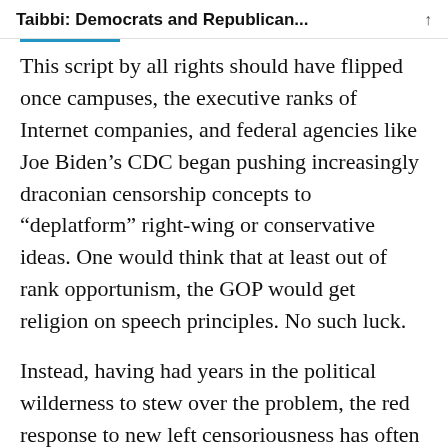Taibbi: Democrats and Republican...
This script by all rights should have flipped once campuses, the executive ranks of Internet companies, and federal agencies like Joe Biden’s CDC began pushing increasingly draconian censorship concepts to “deplatform” right-wing or conservative ideas. One would think that at least out of rank opportunism, the GOP would get religion on speech principles. No such luck.
Instead, having had years in the political wilderness to stew over the problem, the red response to new left censoriousness has often instead come via unoriginal and equally batty attempts at legislative bans. Is the best they can